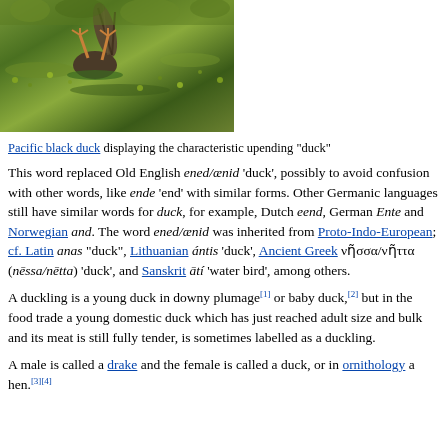[Figure (photo): Pacific black duck upending in water covered with aquatic vegetation, showing tail and legs in the air]
Pacific black duck displaying the characteristic upending "duck"
This word replaced Old English ened/ænid 'duck', possibly to avoid confusion with other words, like ende 'end' with similar forms. Other Germanic languages still have similar words for duck, for example, Dutch eend, German Ente and Norwegian and. The word ened/ænid was inherited from Proto-Indo-European; cf. Latin anas "duck", Lithuanian ántis 'duck', Ancient Greek νῆσσα/νῆττα (nēssa/nētta) 'duck', and Sanskrit ātí 'water bird', among others.
A duckling is a young duck in downy plumage[1] or baby duck,[2] but in the food trade a young domestic duck which has just reached adult size and bulk and its meat is still fully tender, is sometimes labelled as a duckling.
A male is called a drake and the female is called a duck, or in ornithology a hen.[3][4]